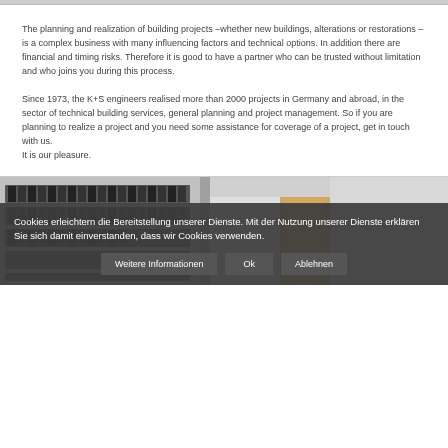The planning and realization of building projects –whether new buildings, alterations or restorations – is a complex business with many influencing factors and technical options. In addition there are financial and timing risks. Therefore it is good to have a partner who can be trusted without limitation and who joins you during this process.
Since 1973, the K+S engineers realised more than 2000 projects in Germany and abroad, in the sector of technical building services, general planning and project management. So if you are planning to realize a project and you need some assistance for coverage of a project, get in touch with us.
It is our pleasure.
[Figure (photo): Office interior showing shelves with black binders/files on the left and a corridor with wooden cabinet/door on the right, in grayscale]
Cookies erleichtern die Bereitstellung unserer Dienste. Mit der Nutzung unserer Dienste erklären Sie sich damit einverstanden, dass wir Cookies verwenden.